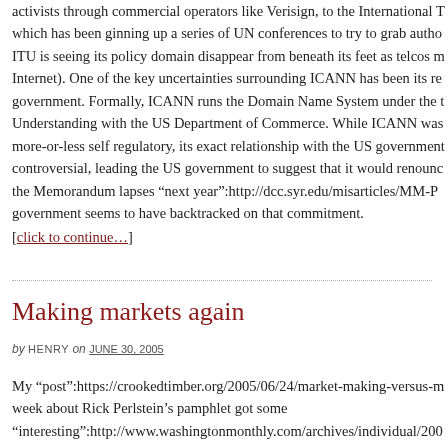activists through commercial operators like Verisign, to the International T which has been ginning up a series of UN conferences to try to grab autho ITU is seeing its policy domain disappear from beneath its feet as telcos m Internet). One of the key uncertainties surrounding ICANN has been its re government. Formally, ICANN runs the Domain Name System under the t Understanding with the US Department of Commerce. While ICANN was more-or-less self regulatory, its exact relationship with the US government controversial, leading the US government to suggest that it would renounc the Memorandum lapses "next year":http://dcc.syr.edu/misarticles/MM-P government seems to have backtracked on that commitment.
[click to continue…]
Making markets again
by HENRY on JUNE 30, 2005
My "post":https://crookedtimber.org/2005/06/24/market-making-versus-m week about Rick Perlstein's pamphlet got some "interesting":http://www.washingtonmonthly.com/archives/individual/200 "reactions":http://www.reachm.com/amstreet/archives/2005/06/26/the-nex